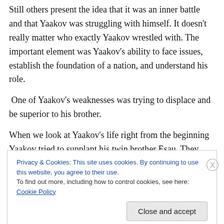Still others present the idea that it was an inner battle and that Yaakov was struggling with himself. It doesn't really matter who exactly Yaakov wrestled with. The important element was Yaakov's ability to face issues, establish the foundation of a nation, and understand his role.
One of Yaakov's weaknesses was trying to displace and be superior to his brother.
When we look at Yaakov's life right from the beginning Yaakov tried to supplant his twin brother Esau. They fought before they were born- Rivka, their mother –
Privacy & Cookies: This site uses cookies. By continuing to use this website, you agree to their use.
To find out more, including how to control cookies, see here: Cookie Policy